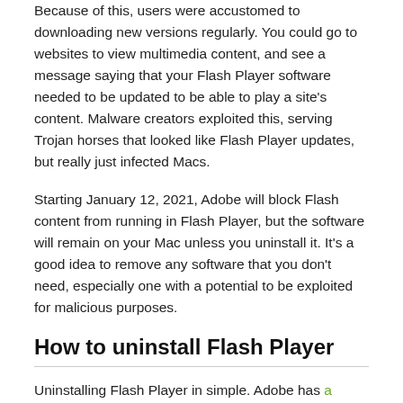Because of this, users were accustomed to downloading new versions regularly. You could go to websites to view multimedia content, and see a message saying that your Flash Player software needed to be updated to be able to play a site's content. Malware creators exploited this, serving Trojan horses that looked like Flash Player updates, but really just infected Macs.
Starting January 12, 2021, Adobe will block Flash content from running in Flash Player, but the software will remain on your Mac unless you uninstall it. It's a good idea to remove any software that you don't need, especially one with a potential to be exploited for malicious purposes.
How to uninstall Flash Player
Uninstalling Flash Player in simple. Adobe has a webpage offering Flash Player uninstaller for Mac. One version is for Macs running macOS / Mac OS X 10.6 or later, another is for Macs running Mac OS X 10.4 or 10.5, and there is even an